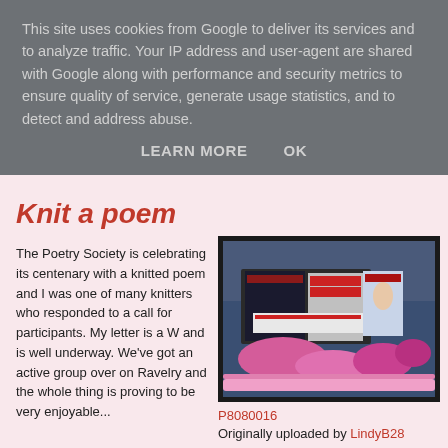This site uses cookies from Google to deliver its services and to analyze traffic. Your IP address and user-agent are shared with Google along with performance and security metrics to ensure quality of service, generate usage statistics, and to detect and address abuse.
LEARN MORE   OK
Knit a poem
The Poetry Society is celebrating its centenary with a knitted poem and I was one of many knitters who responded to a call for participants. My letter is a W and is well underway. We've got an active group over on Ravelry and the whole thing is proving to be very enjoyable...
[Figure (photo): Books and pink yarn/knitting on a blue fabric surface]
P8080016
Originally uploaded by LindyB28